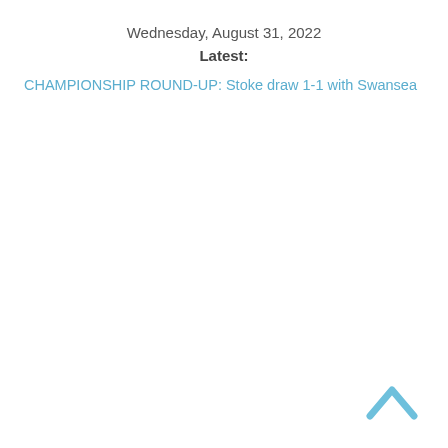Wednesday, August 31, 2022
Latest:
CHAMPIONSHIP ROUND-UP: Stoke draw 1-1 with Swansea